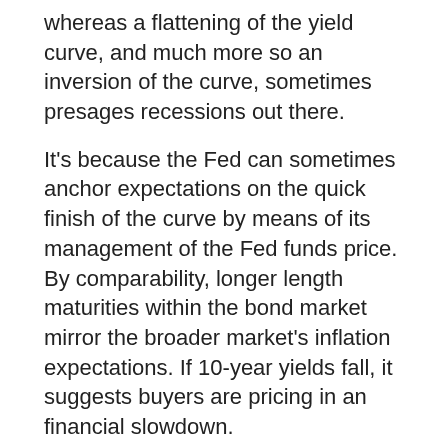whereas a flattening of the yield curve, and much more so an inversion of the curve, sometimes presages recessions out there.
It's because the Fed can sometimes anchor expectations on the quick finish of the curve by means of its management of the Fed funds price. By comparability, longer length maturities within the bond market mirror the broader market's inflation expectations. If 10-year yields fall, it suggests buyers are pricing in an financial slowdown.
https://twitter.com/CathieDWood/standing/1538508965616697347?s=20u0026t=Nk9_QSAQ6gBsrmH_OQ0vQQ
“In our view, the U.S. fell into recession throughout the first quarter. If large inventors bloat actual GDP within the second quarter, they’ll unwind and harm development for the remainder of the yr.”